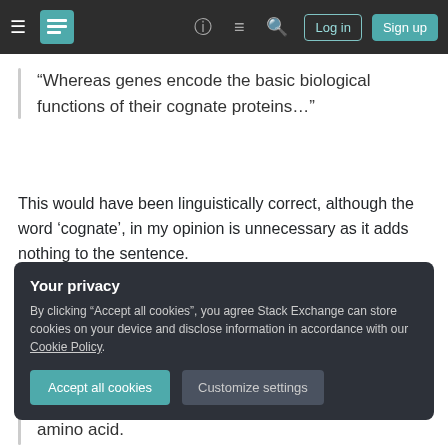Stack Exchange navigation bar with Log in and Sign up buttons
“Whereas genes encode the basic biological functions of their cognate proteins…”
This would have been linguistically correct, although the word ‘cognate’, in my opinion is unnecessary as it adds nothing to the sentence.
You can find a biological definition of cognate on GenScript:
Your privacy
By clicking “Accept all cookies”, you agree Stack Exchange can store cookies on your device and disclose information in accordance with our Cookie Policy.
Accept all cookies  Customize settings
amino acid.